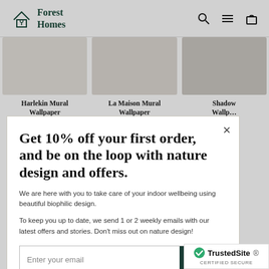Forest Homes
[Figure (screenshot): Product listing row showing three wallpaper products: Harlekin Mural Wallpaper, La Maison Mural Wallpaper, Shadow Wallpaper]
Get 10% off your first order, and be on the loop with nature design and offers.
We are here with you to take care of your indoor wellbeing using beautiful biophilic design.
To keep you up to date, we send 1 or 2 weekly emails with our latest offers and stories. Don't miss out on nature design!
Enter your email
[Figure (logo): TrustedSite Certified Secure badge]